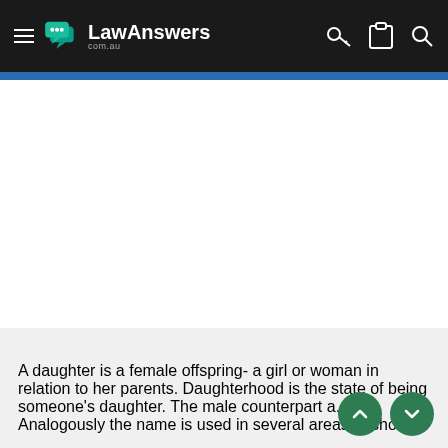LawAnswers com.au
A daughter is a female offspring- a girl or woman in relation to her parents. Daughterhood is the state of being someone's daughter. The male counterpart a... Analogously the name is used in several areas to show